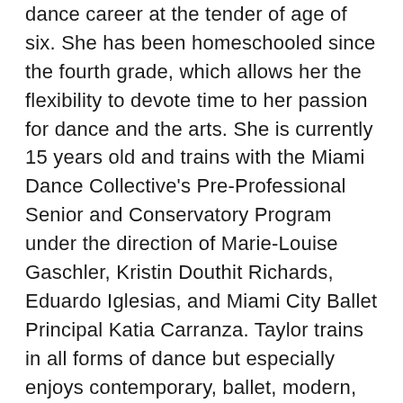dance career at the tender of age of six. She has been homeschooled since the fourth grade, which allows her the flexibility to devote time to her passion for dance and the arts. She is currently 15 years old and trains with the Miami Dance Collective's Pre-Professional Senior and Conservatory Program under the direction of Marie-Louise Gaschler, Kristin Douthit Richards, Eduardo Iglesias, and Miami City Ballet Principal Katia Carranza. Taylor trains in all forms of dance but especially enjoys contemporary, ballet, modern, and composition. She has worked with an array of professional choreographers such as Peter Chu, Jenn Freeman, Mat Aylward, Matt Luck, Loren Davidson, Emmy-nominated Chloe Arnold, Martha Nichols, Micaela G. Taylor, and many more. She was also accepted into the 2020 Alvin Ailey summer intensive program. Taylor believes dance is a joyful expression of